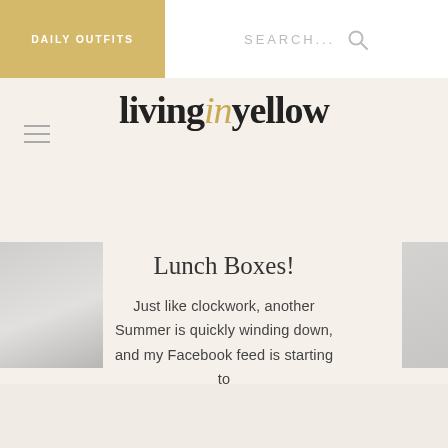DAILY OUTFITS
SEARCH...
livinginyellow
Lunch Boxes!
Just like clockwork, another Summer is quickly winding down, and my Facebook feed is starting to
READ MORE